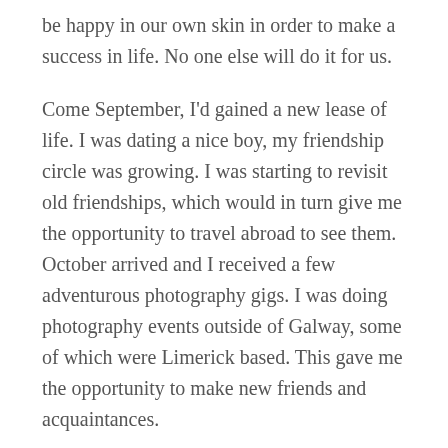be happy in our own skin in order to make a success in life. No one else will do it for us.
Come September, I'd gained a new lease of life. I was dating a nice boy, my friendship circle was growing. I was starting to revisit old friendships, which would in turn give me the opportunity to travel abroad to see them. October arrived and I received a few adventurous photography gigs. I was doing photography events outside of Galway, some of which were Limerick based. This gave me the opportunity to make new friends and acquaintances.
I started to take part in Yoga classes, and found a love for going for runs in the evenings. In November, I graduated from University for the